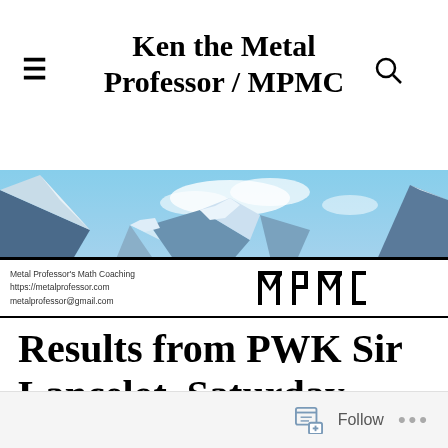Ken the Metal Professor / MPMC
[Figure (photo): Mountain landscape banner photo with snow-covered peaks and blue sky]
[Figure (logo): MPMC logo strip with text: Metal Professor's Math Coaching, https://metalprofessor.com, metalprofessor@gmail.com, and geometric MPMC letter logo]
Results from PWK Sir Lancelot, Saturday May 13, 2017
Follow